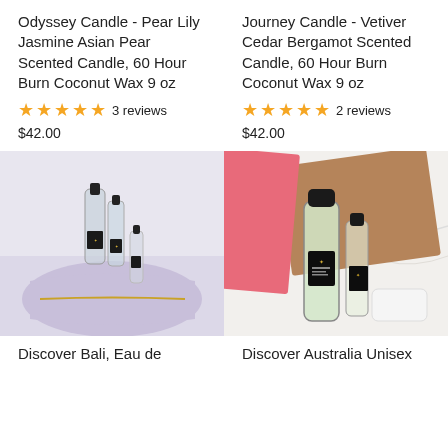Odyssey Candle - Pear Lily Jasmine Asian Pear Scented Candle, 60 Hour Burn Coconut Wax 9 oz
★★★★★ 3 reviews
$42.00
Journey Candle - Vetiver Cedar Bergamot Scented Candle, 60 Hour Burn Coconut Wax 9 oz
★★★★★ 2 reviews
$42.00
[Figure (photo): Photo of two perfume roller bottles next to a lavender cosmetic bag with gold zipper on a marble surface]
[Figure (photo): Photo of a perfume roller bottle with black cap next to a tan/brown box and a pink box on a white marble surface]
Discover Bali, Eau de
Discover Australia Unisex